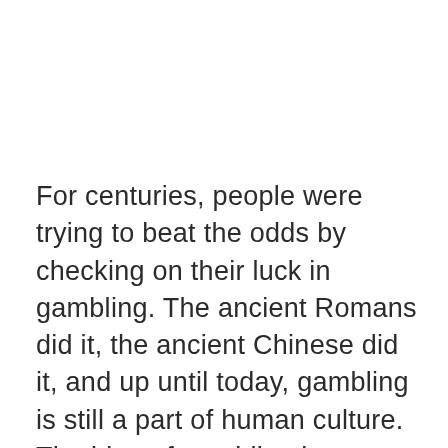For centuries, people were trying to beat the odds by checking on their luck in gambling. The ancient Romans did it, the ancient Chinese did it, and up until today, gambling is still a part of human culture. The idea of gambling has never changed up until today. You bet money on a real game, and a person have win, or man or woman you bet on wins, you head to win more money or sometimes twice the that you originally wagered. Today, to people from from any location are now having a lot of fun with online gambling.